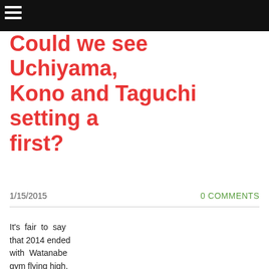☰ (navigation menu)
Could we see Uchiyama, Kono and Taguchi setting a first?
1/15/2015
0 COMMENTS
It's fair to say that 2014 ended with Watanabe gym flying high. ...ear might,
[Figure (photo): Group photo of boxers in dark setting]
infolinks
Top Junior Gold Mining Stock  Get access to the next Top mining "Micro Cap" here!  EXPLORE NOW